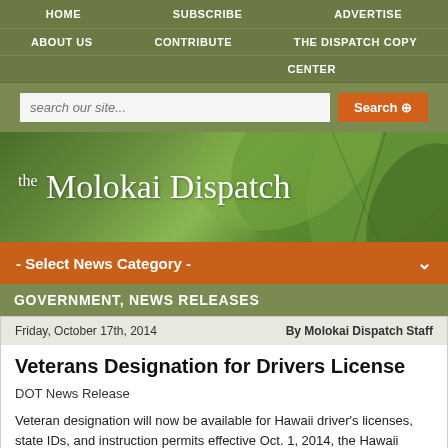HOME  SUBSCRIBE  ADVERTISE
ABOUT US  CONTRIBUTE  THE DISPATCH COPY CENTER
[Figure (screenshot): The Molokai Dispatch website header banner with green leaf background and white serif text logo]
- Select News Category -
GOVERNMENT, NEWS RELEASES
Friday, October 17th, 2014    By Molokai Dispatch Staff
Veterans Designation for Drivers License
DOT News Release
Veteran designation will now be available for Hawaii driver's licenses, state IDs, and instruction permits effective Oct. 1, 2014, the Hawaii